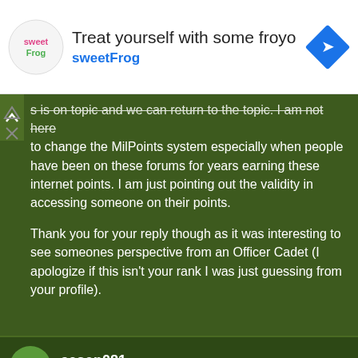[Figure (illustration): Advertisement banner for sweetFrog frozen yogurt. Shows sweetFrog logo on left, large text 'Treat yourself with some froyo' and 'sweetFrog' in blue, and a diamond-shaped navigation icon on right.]
s is on topic and we can return to the topic. I am not here to change the MilPoints system especially when people have been on these forums for years earning these internet points. I am just pointing out the validity in accessing someone on their points.

Thank you for your reply though as it was interesting to see someones perspective from an Officer Cadet (I apologize if this isn't your rank I was just guessing from your profile).
aesop081
Guest
This site uses cookies to help personalise content, tailor your experience and to keep you logged in if you register.
By continuing to use this site, you are consenting to our use of cookies.